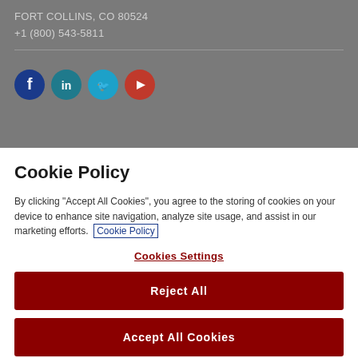FORT COLLINS, CO 80524
+1 (800) 543-5811
[Figure (illustration): Social media icons: Facebook (dark blue circle), LinkedIn (teal circle), Twitter (light blue circle), YouTube (red circle)]
Cookie Policy
By clicking "Accept All Cookies", you agree to the storing of cookies on your device to enhance site navigation, analyze site usage, and assist in our marketing efforts. Cookie Policy
Cookies Settings
Reject All
Accept All Cookies